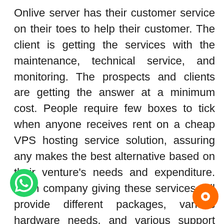Onlive server has their customer service on their toes to help their customer. The client is getting the services with the maintenance, technical service, and monitoring. The prospects and clients are getting the answer at a minimum cost. People require few boxes to tick when anyone receives rent on a cheap VPS hosting service solution, assuring any makes the best alternative based on their venture's needs and expenditure. Each company giving these services will provide different packages, various hardware needs, and various support structures, all of which they demand to take note of to assure they creating excellent decisions. While visiting service provider websites, people will find th they will give them anyone who offers a
[Figure (logo): WhatsApp green chat button icon in bottom left corner]
[Figure (logo): Orange live chat button icon in bottom right corner]